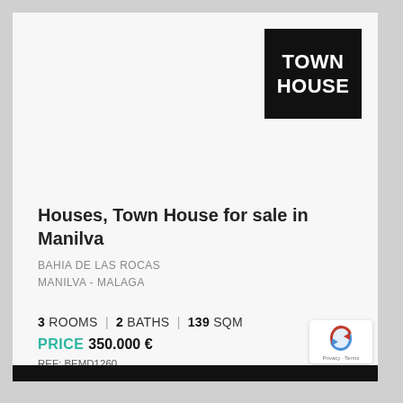[Figure (logo): Black square badge with white text reading TOWN HOUSE]
Houses, Town House for sale in Manilva
BAHIA DE LAS ROCAS
MANILVA - MALAGA
3 ROOMS | 2 BATHS | 139 SQM
PRICE 350.000 €
REF: BEMD1260